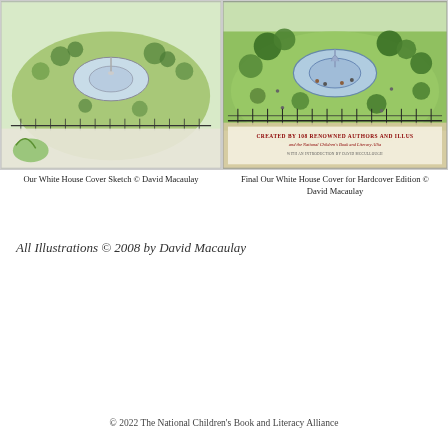[Figure (illustration): Our White House cover sketch by David Macaulay — aerial view of White House grounds with fountain, trees, and fence, pencil/watercolor sketch style]
[Figure (illustration): Final Our White House cover for Hardcover Edition by David Macaulay — aerial view of White House grounds with fountain, people, trees, and fence, color illustration with book title text overlay]
Our White House Cover Sketch © David Macaulay
Final Our White House Cover for Hardcover Edition © David Macaulay
All Illustrations © 2008 by David Macaulay
© 2022 The National Children's Book and Literacy Alliance